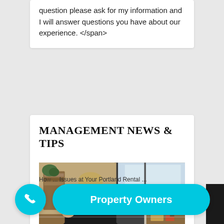question please ask for my information and I will answer questions you have about our experience. </span>
MANAGEMENT NEWS & TIPS
[Figure (photo): A man in a dark suit sitting at a desk, talking on a mobile phone while using a laptop, with an office window and blurred background behind him.]
How ... Issues at Your Portland Rental ...
Property Owners